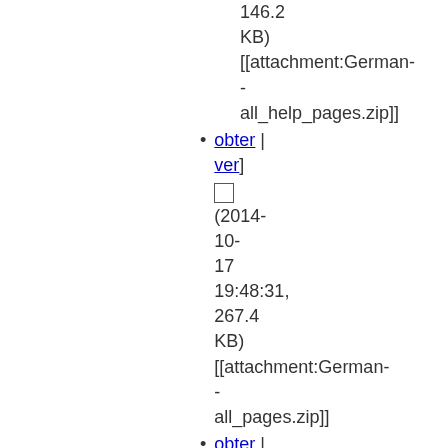146.2
KB)
[[attachment:German--all_help_pages.zip]]
[obter | ver]
☐
(2014-10-17 19:48:31, 267.4 KB) [[attachment:German--all_pages.zip]]
[obter | ver]
☐
(2014-10-17 19:48:29, 81.2